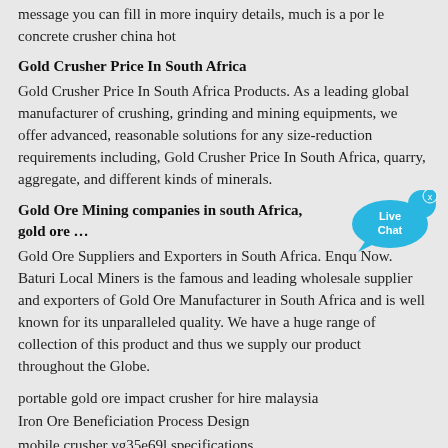message you can fill in more inquiry details, much is a por le concrete crusher china hot
Gold Crusher Price In South Africa
Gold Crusher Price In South Africa Products. As a leading global manufacturer of crushing, grinding and mining equipments, we offer advanced, reasonable solutions for any size-reduction requirements including, Gold Crusher Price In South Africa, quarry, aggregate, and different kinds of minerals.
Gold Ore Mining companies in south Africa, gold ore …
Gold Ore Suppliers and Exporters in South Africa. Enqu Now. Baturi Local Miners is the famous and leading wholesale supplier and exporters of Gold Ore Manufacturer in South Africa and is well known for its unparalleled quality. We have a huge range of collection of this product and thus we supply our product throughout the Globe.
portable gold ore impact crusher for hire malaysia
Iron Ore Beneficiation Process Design
mobile crusher yg35e69l specifications
Equatorial Guinea Mobile crusher 510 tph
Russian Primary jaw crusher 150 tph
proceso de oro maquinaria amd
white fused alumina for ball mill wfa f120
Colombia Aggregate crusher 830 tph